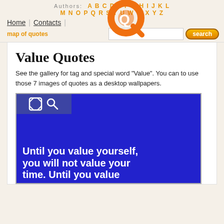Authors: A B C D E F G H I J K L M N O P Q R S T U W W X Y Z
Home | Contacts | [login] | map of quotes | [search bar] search
Value Quotes
See the gallery for tag and special word "Value". You can to use those 7 images of quotes as a desktop wallpapers.
[Figure (screenshot): Blue background quote image with expand/search icons in top-left corner. Text reads: 'Until you value yourself, you will not value your time. Until you value']